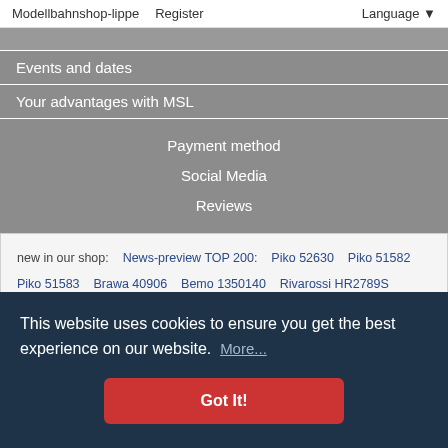Modellbahnshop-lippe   Register   Language
Events and dates
Your advantages with MSL
Payment method
Social Media
Reviews
new in our shop:   News-preview TOP 200:   Piko 52630   Piko 51582   Piko 51583   Brawa 40906   Bemo 1350140   Rivarossi HR2789S   Rivarossi HR2790   Rivarossi HR2790S   Brawa 40922   Piko 40641   Piko 40642   Piko 40643   Brawa 70011   Märklin 88569   Schuco 452667500   Schuco 452667600   Schuco 452667700   REE modeles WB-757   REE
This website uses cookies to ensure you get the best experience on our website.  More...
Got It!